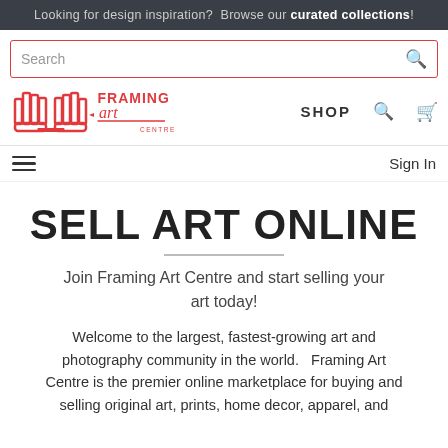Looking for design inspiration?  Browse our curated collections!
Search
[Figure (logo): Framing Art Centre logo with two hands and stylized text]
SHOP
Sign In
SELL ART ONLINE
Join Framing Art Centre and start selling your art today!
Welcome to the largest, fastest-growing art and photography community in the world.   Framing Art Centre is the premier online marketplace for buying and selling original art, prints, home decor, apparel, and